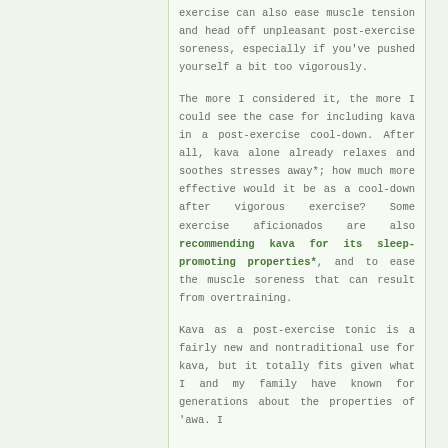exercise can also ease muscle tension and head off unpleasant post-exercise soreness, especially if you've pushed yourself a bit too vigorously.
The more I considered it, the more I could see the case for including kava in a post-exercise cool-down. After all, kava alone already relaxes and soothes stresses away*; how much more effective would it be as a cool-down after vigorous exercise? Some exercise aficionados are also recommending kava for its sleep-promoting properties*, and to ease the muscle soreness that can result from overtraining.
Kava as a post-exercise tonic is a fairly new and nontraditional use for kava, but it totally fits given what I and my family have known for generations about the properties of 'awa. I